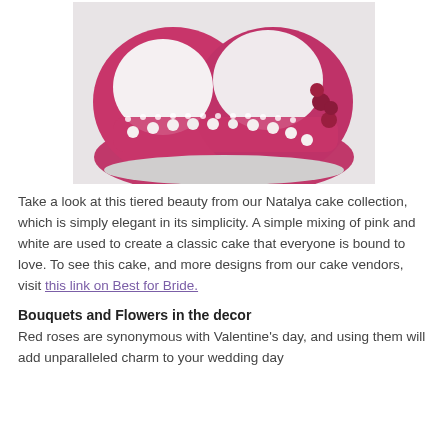[Figure (photo): A top-down angled view of a tiered heart-shaped wedding cake with pink/magenta fondant and white fondant layers, decorated with white sugar roses along the edges and red/pink flowers on one tier.]
Take a look at this tiered beauty from our Natalya cake collection, which is simply elegant in its simplicity. A simple mixing of pink and white are used to create a classic cake that everyone is bound to love. To see this cake, and more designs from our cake vendors, visit this link on Best for Bride.
Bouquets and Flowers in the decor
Red roses are synonymous with Valentine's day, and using them will add unparalleled charm to your wedding day